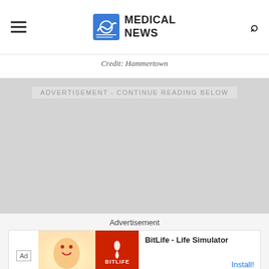MEDICAL NEWS
Credit: Hammertown
[Figure (other): Advertisement placeholder area with text 'ADVERTISEMENT - CONTINUE READING BELOW' on light gray background]
Advertisement
[Figure (other): Ad banner for BitLife - Life Simulator app with orange/red background, cartoon character on left side, and Install button]